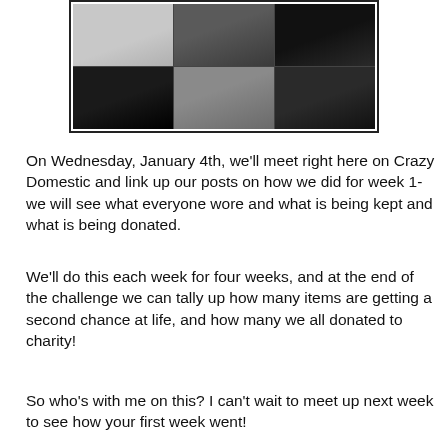[Figure (photo): A 3x2 grid of clothing photos showing various garments including sweaters, a blazer, and pants, displayed on a white background with a dark border.]
On Wednesday, January 4th, we'll meet right here on Crazy Domestic and link up our posts on how we did for week 1- we will see what everyone wore and what is being kept and what is being donated.
We'll do this each week for four weeks, and at the end of the challenge we can tally up how many items are getting a second chance at life, and how many we all donated to charity!
So who's with me on this? I can't wait to meet up next week to see how your first week went!